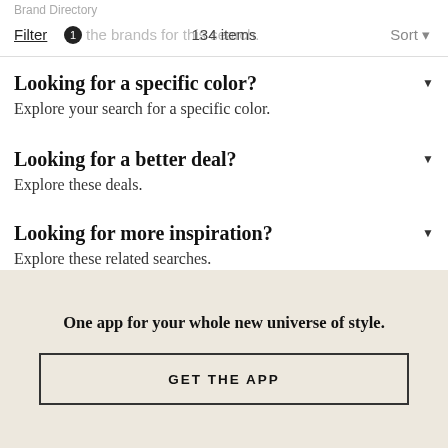Brand Directory
Filter 1   the brands for this search.   134 items   Sort
Looking for a specific color?
Explore your search for a specific color.
Looking for a better deal?
Explore these deals.
Looking for more inspiration?
Explore these related searches.
One app for your whole new universe of style.
GET THE APP